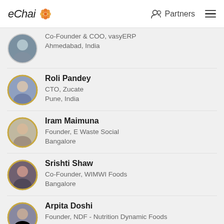eChai | Partners
Co-Founder & COO, vasyERP
Ahmedabad, India
Roli Pandey
CTO, Zucate
Pune, India
Iram Maimuna
Founder, E Waste Social
Bangalore
Srishti Shaw
Co-Founder, WIMWI Foods
Bangalore
Arpita Doshi
Founder, NDF - Nutrition Dynamic Foods
Ahmedabad, India
Rani Paruchuri
Founder & CEO, Dream Tekis Software
Hyderabad, India